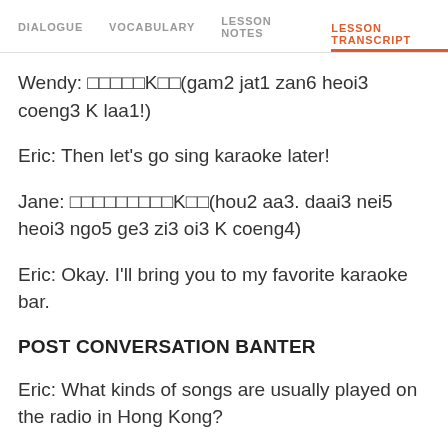DIALOGUE   VOCABULARY   LESSON NOTES   LESSON TRANSCRIPT
Wendy: 𝗃𝗃𝗃𝗃𝗃K𝗃𝗃(gam2 jat1 zan6 heoi3 coeng3 K laa1!)
Eric: Then let's go sing karaoke later!
Jane: 𝗃𝗃𝗃𝗃𝗃𝗃𝗃𝗃𝗃K𝗃𝗃(hou2 aa3. daai3 nei5 heoi3 ngo5 ge3 zi3 oi3 K coeng4)
Eric: Okay. I'll bring you to my favorite karaoke bar.
POST CONVERSATION BANTER
Eric: What kinds of songs are usually played on the radio in Hong Kong?
Teddy: Nowadays, both Cantonese and Mandarin songs are popular. English songs are a major part of the music